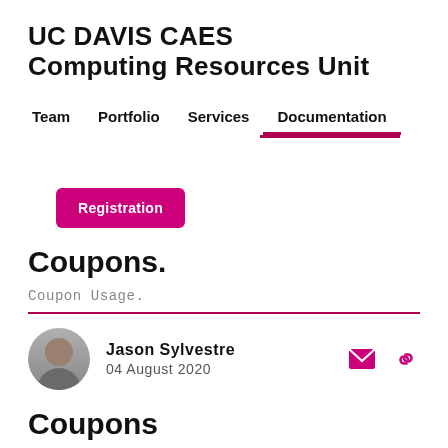UC DAVIS CAES Computing Resources Unit
Team  Portfolio  Services  Documentation
Registration
Coupons.
Coupon Usage.
Jason Sylvestre
04 August 2020
Coupons